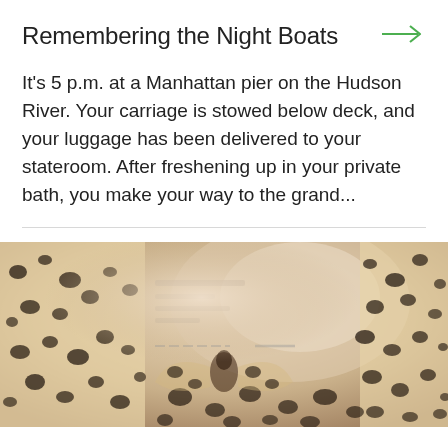Remembering the Night Boats
It's 5 p.m. at a Manhattan pier on the Hudson River. Your carriage is stowed below deck, and your luggage has been delivered to your stateroom. After freshening up in your private bath, you make your way to the grand...
[Figure (photo): Close-up photo of spotted/leopard print fabric or material, possibly a butterfly or textile with dark spots on a light background]